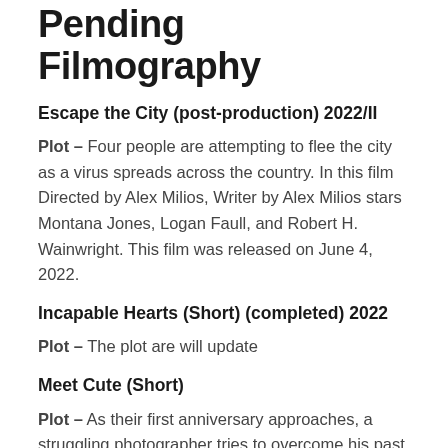Pending Filmography
Escape the City (post-production) 2022/II
Plot – Four people are attempting to flee the city as a virus spreads across the country. In this film Directed by Alex Milios, Writer by Alex Milios stars Montana Jones, Logan Faull, and Robert H. Wainwright. This film was released on June 4, 2022.
Incapable Hearts (Short) (completed) 2022
Plot – The plot are will update
Meet Cute (Short)
Plot – As their first anniversary approaches, a struggling photographer tries to overcome his past and move forward in his relationship, while the woman he loves